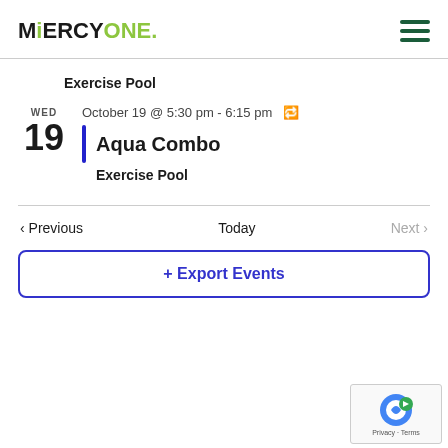[Figure (logo): MercyOne logo with stylized M and green accent on 'i' and 'ONE', followed by a green dot]
[Figure (other): Hamburger menu icon with three dark green horizontal bars]
Exercise Pool
October 19 @ 5:30 pm - 6:15 pm (recurring)
Aqua Combo
Exercise Pool
< Previous
Today
Next >
+ Export Events
[Figure (other): Google reCAPTCHA widget with Privacy and Terms links]